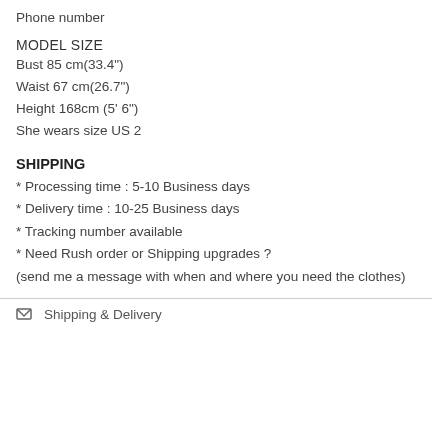Phone number
MODEL SIZE
Bust 85 cm(33.4")
Waist 67 cm(26.7")
Height 168cm (5' 6")
She wears size US 2
SHIPPING
* Processing time : 5-10 Business days
* Delivery time : 10-25 Business days
* Tracking number available
* Need Rush order or Shipping upgrades ?
(send me a message with when and where you need the clothes)
Shipping & Delivery